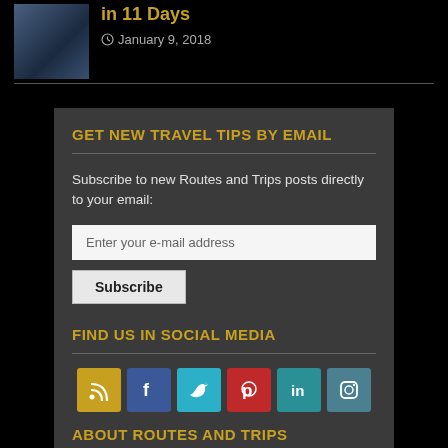in 11 Days
January 9, 2018
GET NEW TRAVEL TIPS BY EMAIL
Subscribe to new Routes and Trips posts directly to your email:
Enter your e-mail address
Subscribe
FIND US IN SOCIAL MEDIA
[Figure (infographic): Social media icons: RSS (gold), Facebook (blue), Twitter (cyan), Pinterest (red), LinkedIn (teal), Instagram (teal-gray)]
ABOUT ROUTES AND TRIPS